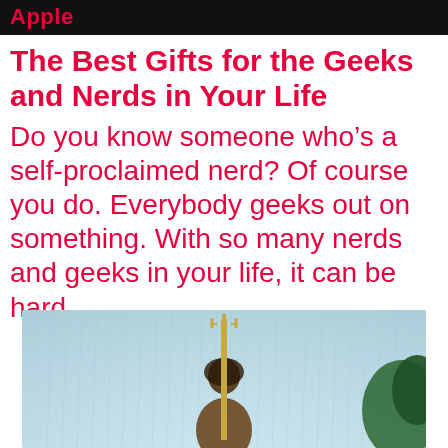Apple
The Best Gifts for the Geeks and Nerds in Your Life
Do you know someone who’s a self-proclaimed nerd? Of course you do. Everybody geeks out on something. With so many nerds and geeks in your life, it can be hard …
[Figure (photo): A person holding a trident/staff standing in rain with blue misty background, appearing to be from the Aquaman movie.]